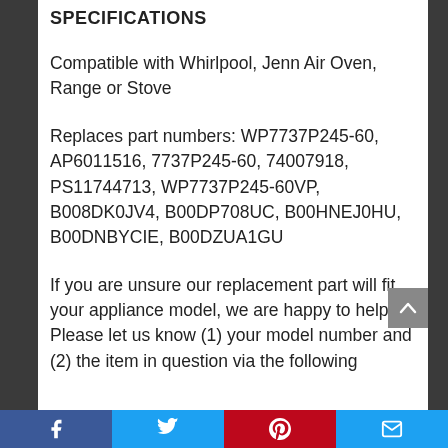SPECIFICATIONS
Compatible with Whirlpool, Jenn Air Oven, Range or Stove
Replaces part numbers: WP7737P245-60, AP6011516, 7737P245-60, 74007918, PS11744713, WP7737P245-60VP, B008DK0JV4, B00DP708UC, B00HNEJ0HU, B00DNBYCIE, B00DZUA1GU
If you are unsure our replacement part will fit your appliance model, we are happy to help! Please let us know (1) your model number and (2) the item in question via the following